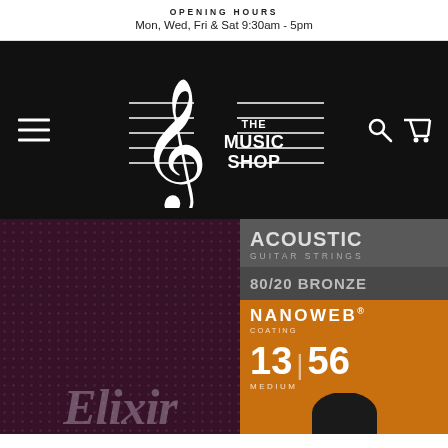OPENING HOURS
Mon, Wed, Fri & Sat 9:30am - 5pm
[Figure (logo): The Music Shop logo with treble clef and horizontal lines, white on black background, with hamburger menu icon on left and search/cart icons on right]
[Figure (photo): Elixir acoustic guitar strings product - left half shows dark purple/maroon dotted background with Elixir script text; right half shows product packaging details: ACOUSTIC GUITAR STRINGS, 80/20 BRONZE, NANOWEB coating, gauge 13-56, MEDIUM]